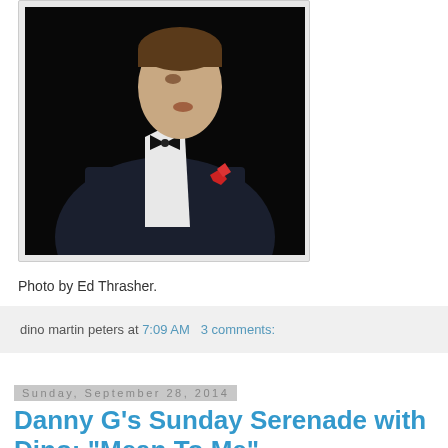[Figure (photo): Black and white / dark photo of a man in a tuxedo with bow tie and red pocket square, singing or performing on stage. Photo by Ed Thrasher.]
Photo by Ed Thrasher.
dino martin peters at 7:09 AM   3 comments:
Sunday, September 28, 2014
Danny G's Sunday Serenade with Dino: "Mean To Me"